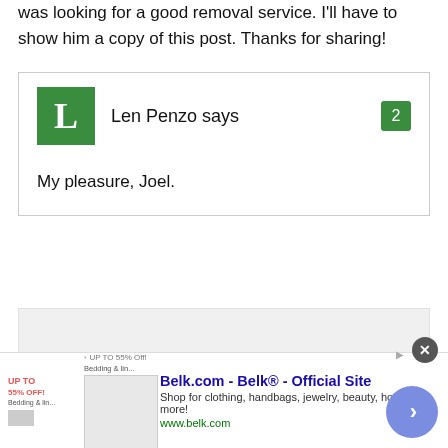was looking for a good removal service. I'll have to show him a copy of this post. Thanks for sharing!
Len Penzo says
My pleasure, Joel.
[Figure (other): Gray placeholder rectangle for an advertisement or embedded content]
[Figure (other): Belk.com advertisement banner with close button and navigation arrow. Title: Belk.com - Belk® - Official Site. Description: Shop for clothing, handbags, jewelry, beauty, home & more! URL: www.belk.com]